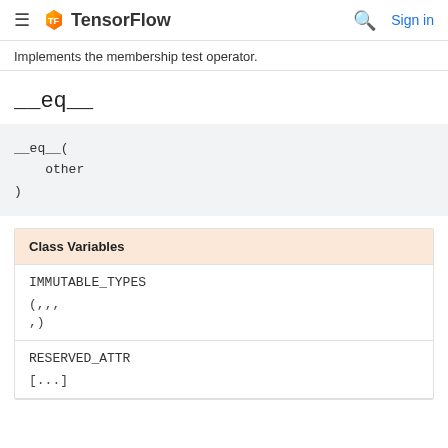TensorFlow  Sign in
Implements the membership test operator.
__eq__
__eq__(
    other
)
| Class Variables |
| --- |
| IMMUTABLE_TYPES | (<class 'str'>,<class 'int'>,<class 'float'>,
<class 'bool'>,<class 'NoneType'>) |
| RESERVED_ATTR | [...] |